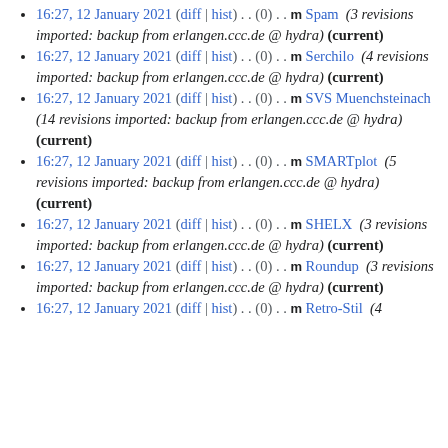16:27, 12 January 2021 (diff | hist) . . (0) . . m Spam (3 revisions imported: backup from erlangen.ccc.de @ hydra) (current)
16:27, 12 January 2021 (diff | hist) . . (0) . . m Serchilo (4 revisions imported: backup from erlangen.ccc.de @ hydra) (current)
16:27, 12 January 2021 (diff | hist) . . (0) . . m SVS Muenchsteinach (14 revisions imported: backup from erlangen.ccc.de @ hydra) (current)
16:27, 12 January 2021 (diff | hist) . . (0) . . m SMARTplot (5 revisions imported: backup from erlangen.ccc.de @ hydra) (current)
16:27, 12 January 2021 (diff | hist) . . (0) . . m SHELX (3 revisions imported: backup from erlangen.ccc.de @ hydra) (current)
16:27, 12 January 2021 (diff | hist) . . (0) . . m Roundup (3 revisions imported: backup from erlangen.ccc.de @ hydra) (current)
16:27, 12 January 2021 (diff | hist) . . (0) . . m Retro-Stil (4 revisions imported: backup from erlangen.ccc.de @ hydra) (current)